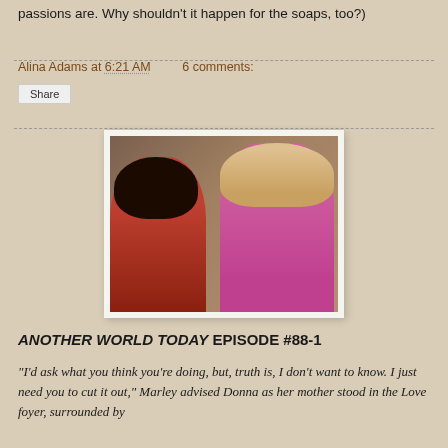passions are. Why shouldn't it happen for the soaps, too?)
Alina Adams at 6:21 AM   6 comments:
Share
[Figure (photo): TV still showing two women in conversation — one in red, one in pink/magenta top with blonde hair]
ANOTHER WORLD TODAY EPISODE #88-1
"I'd ask what you think you're doing, but, truth is, I don't want to know. I just need you to cut it out," Marley advised Donna as her mother stood in the Love foyer, surrounded by